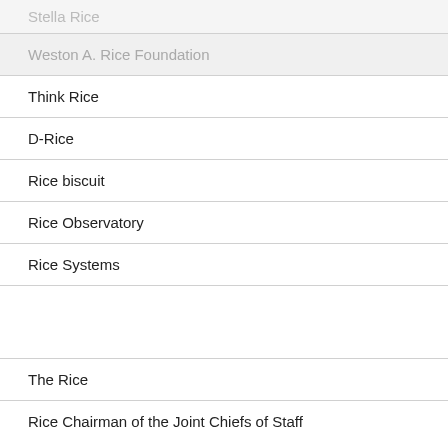Stella Rice
Weston A. Rice Foundation
Think Rice
D-Rice
Rice biscuit
Rice Observatory
Rice Systems
The Rice
Rice Chairman of the Joint Chiefs of Staff